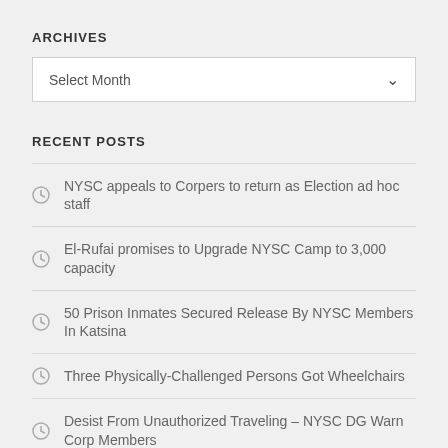ARCHIVES
[Figure (other): Select Month dropdown widget]
RECENT POSTS
NYSC appeals to Corpers to return as Election ad hoc staff
El-Rufai promises to Upgrade NYSC Camp to 3,000 capacity
50 Prison Inmates Secured Release By NYSC Members In Katsina
Three Physically-Challenged Persons Got Wheelchairs
Desist From Unauthorized Traveling – NYSC DG Warn Corp Members
IMPORTANT INFO